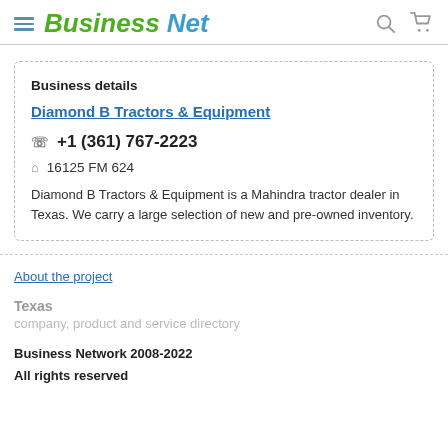Business Net
Business details
Diamond B Tractors & Equipment
+1 (361) 767-2223
16125 FM 624
Diamond B Tractors & Equipment is a Mahindra tractor dealer in Texas. We carry a large selection of new and pre-owned inventory.
About the project
Texas
company, product and service directory
Business Network 2008-2022
All rights reserved